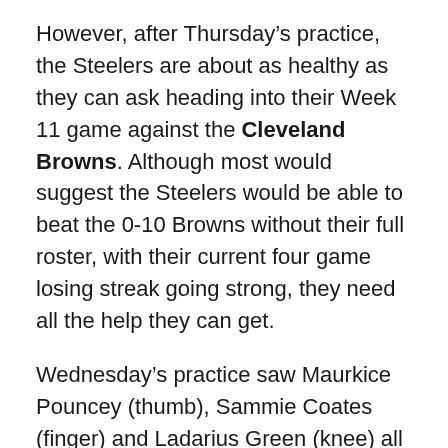However, after Thursday's practice, the Steelers are about as healthy as they can ask heading into their Week 11 game against the Cleveland Browns. Although most would suggest the Steelers would be able to beat the 0-10 Browns without their full roster, with their current four game losing streak going strong, they need all the help they can get.
Wednesday's practice saw Maurkice Pouncey (thumb), Sammie Coates (finger) and Ladarius Green (knee) all either limited or non participants in practice. Thursday's workout saw all of those players back to full participation, a sign these players didn't suffer a set back and are primed to return to the field this Sunday.
Check out the full injury report for both the Browns and Steelers listed below: